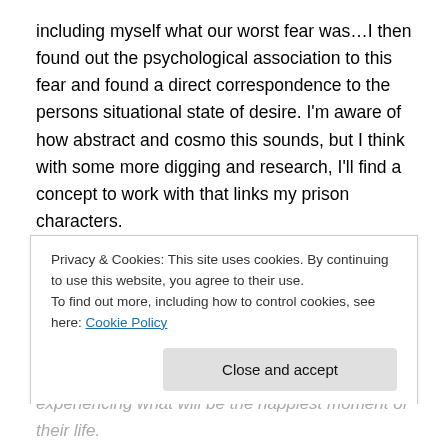including myself what our worst fear was…I then found out the psychological association to this fear and found a direct correspondence to the persons situational state of desire. I'm aware of how abstract and cosmo this sounds, but I think with some more digging and research, I'll find a concept to work with that links my prison characters.
This is a creative piece I wrote to start with;
Through my Monster
The exquisite pain of watching them overtakes me,
Privacy & Cookies: This site uses cookies. By continuing to use this website, you agree to their use. To find out more, including how to control cookies, see here: Cookie Policy
experiencing what will be the happiest moment of their life.